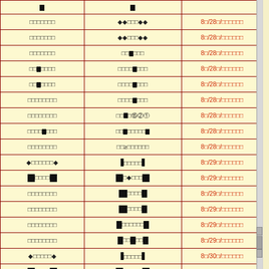| Col1 | Col2 | Col3 |
| --- | --- | --- |
| [redacted] | ♦♦[redacted]♦♦ | 80/280/[redacted] |
| [redacted] | ♦♦[redacted]♦♦ | 80/280/[redacted] |
| [redacted] | [redacted][b][redacted] | 80/280/[redacted] |
| [b][redacted] | [redacted][b][redacted] | 80/280/[redacted] |
| [b][redacted] | [redacted][b][redacted] | 80/280/[redacted] |
| [redacted] | [redacted][b][redacted] | 80/280/[redacted] |
| [redacted] | [redacted]②① | 80/280/[redacted] |
| [redacted][b][redacted] | [redacted][b][redacted] | 80/280/[redacted] |
| [redacted] | ≥[redacted] | 80/280/[redacted] |
| ♦[redacted]♦ | [B][redacted][B] | 80/290/[redacted] |
| [B][redacted][B] | [B]♦[redacted][B] | 80/290/[redacted] |
| [redacted] | [B][redacted][B] | 80/290/[redacted] |
| [redacted] | [B][redacted][B] | 80/290/[redacted] |
| [redacted] | [B][redacted][B] | 80/290/[redacted] |
| [redacted] | [B][redacted][B] | 80/290/[redacted] |
| ♦[redacted]♦ | [B][redacted][B] | 80/300/[redacted] |
| [B][redacted][B] | [B]♦[redacted][B] | 80/300/[redacted] |
| [redacted] | [B][redacted][B] | 80/300/[redacted] |
| [redacted] | [B][redacted] | 80/300/[redacted] |